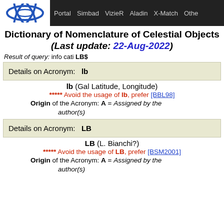Portal | Simbad | VizieR | Aladin | X-Match | Other
Dictionary of Nomenclature of Celestial Objects
(Last update: 22-Aug-2022)
Result of query: info cati LB$
Details on Acronym: lb
lb (Gal Latitude, Longitude)
***** Avoid the usage of lb, prefer [BBL98]
Origin of the Acronym: A = Assigned by the author(s)
Details on Acronym: LB
LB (L. Bianchi?)
***** Avoid the usage of LB, prefer [BSM2001]
Origin of the Acronym: A = Assigned by the author(s)